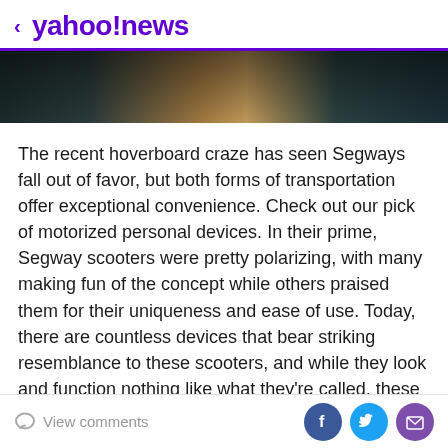< yahoo!news
[Figure (photo): Dark gradient hero banner image with brown/tan center fading to dark teal edges]
The recent hoverboard craze has seen Segways fall out of favor, but both forms of transportation offer exceptional convenience. Check out our pick of motorized personal devices. In their prime, Segway scooters were pretty polarizing, with many making fun of the concept while others praised them for their uniqueness and ease of use. Today, there are countless devices that bear striking resemblance to these scooters, and while they look and function nothing like what they're called, these “hoverboards” have taken the world by storm.
View comments